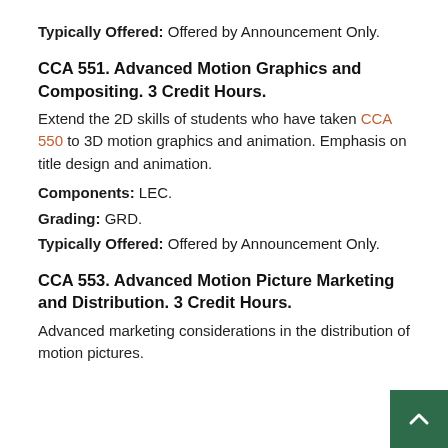Typically Offered: Offered by Announcement Only.
CCA 551. Advanced Motion Graphics and Compositing. 3 Credit Hours.
Extend the 2D skills of students who have taken CCA 550 to 3D motion graphics and animation. Emphasis on title design and animation.
Components: LEC.
Grading: GRD.
Typically Offered: Offered by Announcement Only.
CCA 553. Advanced Motion Picture Marketing and Distribution. 3 Credit Hours.
Advanced marketing considerations in the distribution of motion pictures.